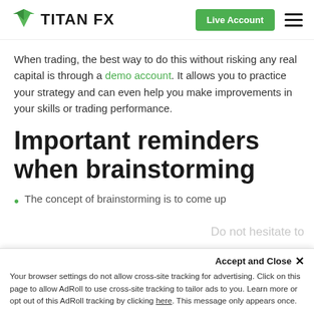TITANFX | Live Account
When trading, the best way to do this without risking any real capital is through a demo account. It allows you to practice your strategy and can even help you make improvements in your skills or trading performance.
Important reminders when brainstorming
The concept of brainstorming is to come up
Your browser settings do not allow cross-site tracking for advertising. Click on this page to allow AdRoll to use cross-site tracking to tailor ads to you. Learn more or opt out of this AdRoll tracking by clicking here. This message only appears once.